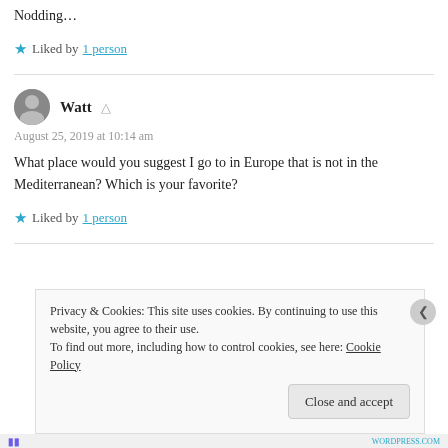Nodding…
★ Liked by 1 person
Watt — August 25, 2019 at 10:14 am
What place would you suggest I go to in Europe that is not in the Mediterranean? Which is your favorite?
★ Liked by 1 person
Privacy & Cookies: This site uses cookies. By continuing to use this website, you agree to their use. To find out more, including how to control cookies, see here: Cookie Policy